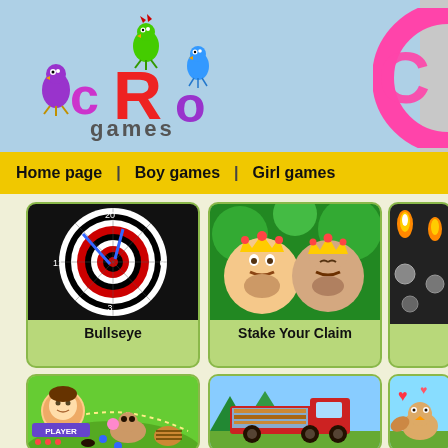[Figure (logo): CRO Games logo with cartoon birds and colorful letters on light blue background]
[Figure (logo): Partial pink circular logo on far right of header]
Home page  |  Boy games  |  Girl games
[Figure (photo): Bullseye dart board game thumbnail]
Bullseye
[Figure (photo): Stake Your Claim game thumbnail with cartoon kings]
Stake Your Claim
[Figure (photo): Partial game thumbnail on right side row 1]
[Figure (photo): Golf/mini-golf game thumbnail with player character on green course]
[Figure (photo): Truck driving game thumbnail with red truck on green landscape]
[Figure (photo): Partial game thumbnail on right side row 2 with cartoon character]